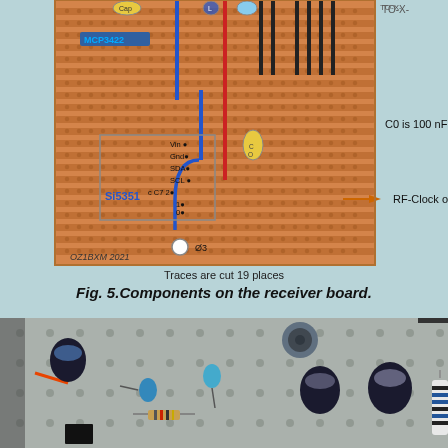[Figure (engineering-diagram): Breadboard layout diagram showing components including MCP3422, Si5351, capacitor C0 (100nF), and wiring connections with colored traces (blue, red, black). Labels show Vin, Gnd, SDA, SCL, C7, pins 0/1/2, Ø3, OZ1BXM 2021. Annotations indicate C0 is 100 nF and RF-Clock output. Traces are cut 19 places.]
Traces are cut 19 places
Fig. 5.Components on the receiver board.
[Figure (photo): Photograph of a physical breadboard/perfboard with various electronic components including capacitors, resistors, and other parts mounted on it. The board has a metallic/grey appearance with visible holes.]